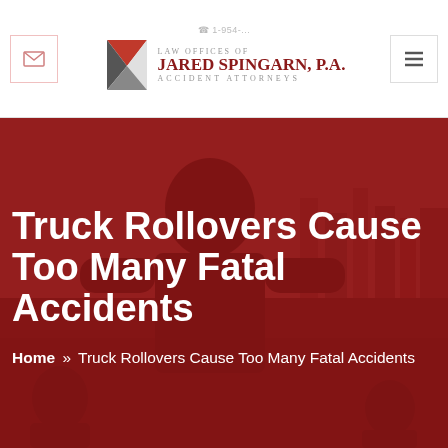Law Offices of Jared Spingarn, P.A. Accident Attorneys | 1-954-...
[Figure (photo): Red-tinted hero background photo showing a man outdoors with cityscape, overlaid with dark red overlay]
Truck Rollovers Cause Too Many Fatal Accidents
Home » Truck Rollovers Cause Too Many Fatal Accidents